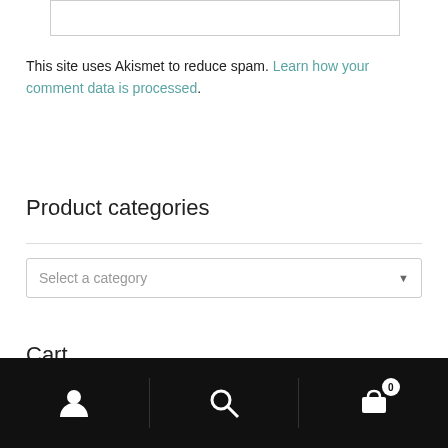[Figure (other): Partial white input/text box at the top of the page]
This site uses Akismet to reduce spam. Learn how your comment data is processed.
Product categories
[Figure (other): Dropdown selector with placeholder text 'Select a category']
Cart
Bottom navigation bar with user icon, search icon, and cart icon with badge showing 0